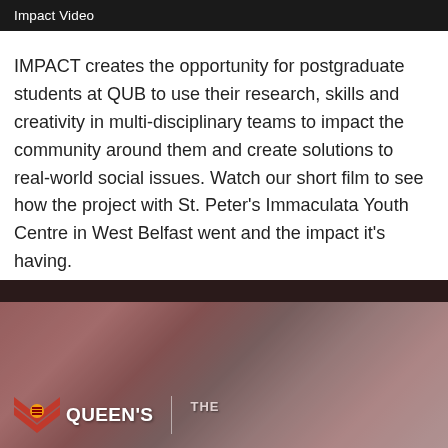Impact Video
IMPACT creates the opportunity for postgraduate students at QUB to use their research, skills and creativity in multi-disciplinary teams to impact the community around them and create solutions to real-world social issues. Watch our short film to see how the project with St. Peter’s Immaculata Youth Centre in West Belfast went and the impact it’s having.
[Figure (screenshot): Video thumbnail showing a blurred building exterior in reddish-brown tones with Queen's University Belfast logo and 'THE' text overlay at the bottom]